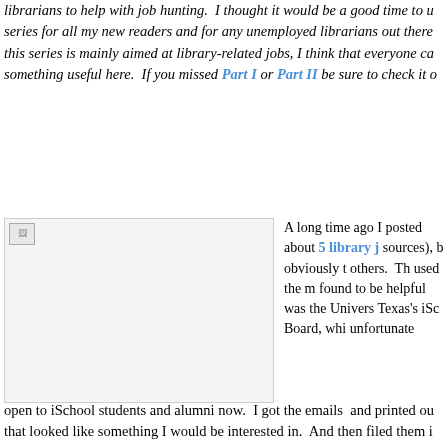librarians to help with job hunting. I thought it would be a good time to update this series for all my new readers and for any unemployed librarians out there. While this series is mainly aimed at library-related jobs, I think that everyone can find something useful here. If you missed Part I or Part II be sure to check it out.
[Figure (photo): A placeholder image with broken image icon in top-left corner, bordered rectangle with light gray background]
A long time ago I posted about 5 library j... sources), b... obviously t... others. Th... used the m... found to be... helpful was... the Univers... Texas's iSc... Board, whi... unfortunate...
open to iSchool students and alumni now. I got the emails and printed ou... that looked like something I would be interested in. And then filed them i...